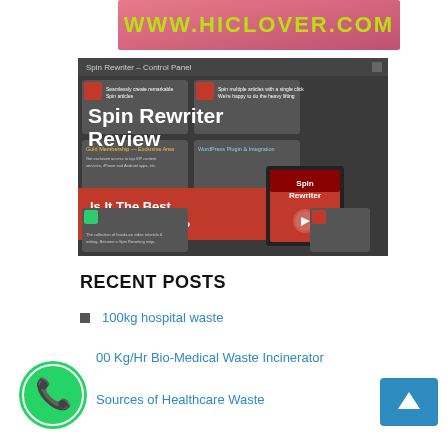[Figure (screenshot): Banner image showing www.hiclover.com website header with pink/red gradient background]
[Figure (screenshot): Spin Rewriter Review screenshot showing the control panel interface with text 'Is It The Best Article Spinner?' and a red software box]
RECENT POSTS
100kg hospital waste
00 Kg/Hr Bio-Medical Waste Incinerator
Sources of Healthcare Waste
[Figure (logo): Green circular WhatsApp button icon]
[Figure (other): Blue back-to-top arrow button]